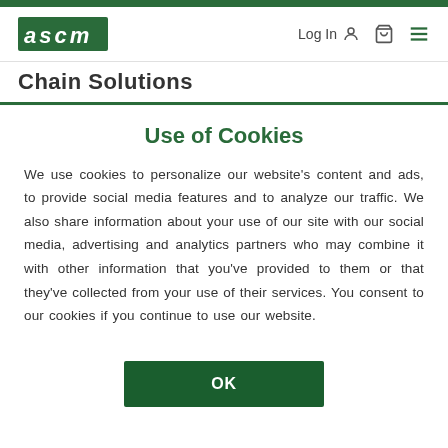ASCM | Log In | [cart] [menu]
Chain Solutions
Use of Cookies
We use cookies to personalize our website’s content and ads, to provide social media features and to analyze our traffic. We also share information about your use of our site with our social media, advertising and analytics partners who may combine it with other information that you’ve provided to them or that they’ve collected from your use of their services. You consent to our cookies if you continue to use our website.
OK